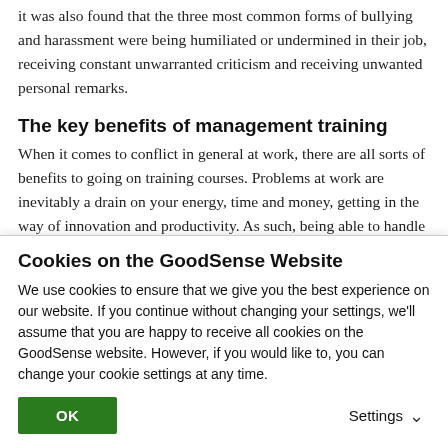it was also found that the three most common forms of bullying and harassment were being humiliated or undermined in their job, receiving constant unwarranted criticism and receiving unwanted personal remarks.
The key benefits of management training
When it comes to conflict in general at work, there are all sorts of benefits to going on training courses. Problems at work are inevitably a drain on your energy, time and money, getting in the way of innovation and productivity. As such, being able to handle tricky situations in a constructive way is critical to the success of your business.
One of the biggest benefits of training to any workplace is the fact that your ability to manage risk will certainly be enhanced. You'll be better able to prevent aggression, vandalism, violence,
Cookies on the GoodSense Website
We use cookies to ensure that we give you the best experience on our website. If you continue without changing your settings, we'll assume that you are happy to receive all cookies on the GoodSense website. However, if you would like to, you can change your cookie settings at any time.
OK
Settings